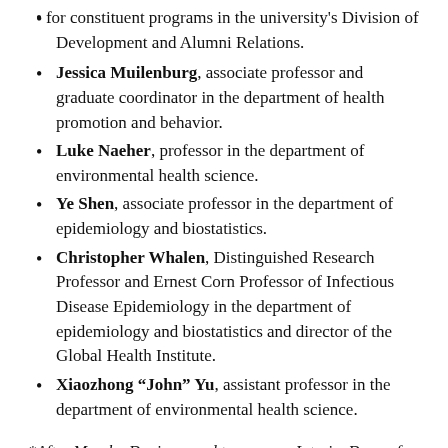for constituent programs in the university's Division of Development and Alumni Relations.
Jessica Muilenburg, associate professor and graduate coordinator in the department of health promotion and behavior.
Luke Naeher, professor in the department of environmental health science.
Ye Shen, associate professor in the department of epidemiology and biostatistics.
Christopher Whalen, Distinguished Research Professor and Ernest Corn Professor of Infectious Disease Epidemiology in the department of epidemiology and biostatistics and director of the Global Health Institute.
Xiaozhong "John" Yu, assistant professor in the department of environmental health science.
*After Marsha Davis agreed to serve as Interim Dean of the College of Public Health, effective Dec. 1, 2019, she relinquished her role on the search committee for the next permanent dean of the College of Public Health. This